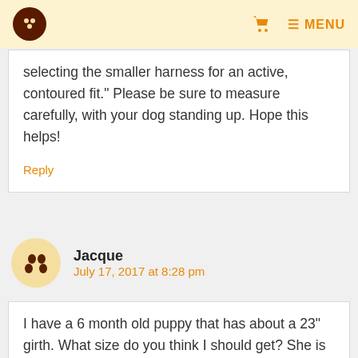Logo | Cart | MENU
selecting the smaller harness for an active, contoured fit.” Please be sure to measure carefully, with your dog standing up. Hope this helps!
Reply
Jacque
July 17, 2017 at 8:28 pm
I have a 6 month old puppy that has about a 23" girth. What size do you think I should get? She is some sort of hound/lab cross